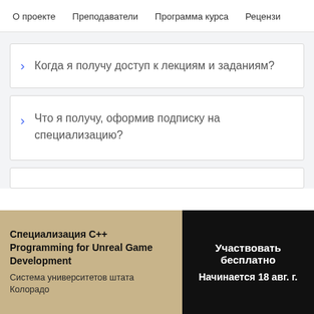О проекте   Преподаватели   Программа курса   Рецензи
Когда я получу доступ к лекциям и заданиям?
Что я получу, оформив подписку на специализацию?
Специализация C++ Programming for Unreal Game Development
Система университетов штата Колорадо
Участвовать бесплатно
Начинается 18 авг. г.